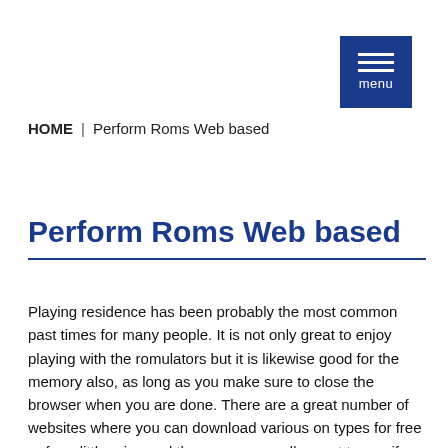[Figure (other): Blue menu button with three horizontal white lines and the word 'menu' below them]
HOME | Perform Roms Web based
Perform Roms Web based
Playing residence has been probably the most common past times for many people. It is not only great to enjoy playing with the romulators but it is likewise good for the memory also, as long as you make sure to close the browser when you are done. There are a great number of websites where you can download various on types for free or for a little price and these are generally great to use if you like grabbing games or using application.